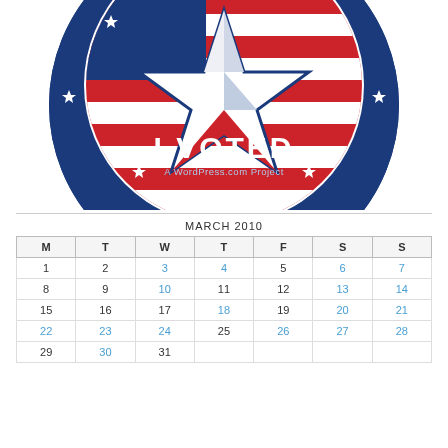[Figure (illustration): An 'I Voted' badge/sticker with a circular navy blue border featuring white stars, a central star design with American flag colors (red, white, blue), bold white text 'I VOTED', and smaller text 'A WordPress.com Project']
| M | T | W | T | F | S | S |
| --- | --- | --- | --- | --- | --- | --- |
| 1 | 2 | 3 | 4 | 5 | 6 | 7 |
| 8 | 9 | 10 | 11 | 12 | 13 | 14 |
| 15 | 16 | 17 | 18 | 19 | 20 | 21 |
| 22 | 23 | 24 | 25 | 26 | 27 | 28 |
| 29 | 30 | 31 |  |  |  |  |